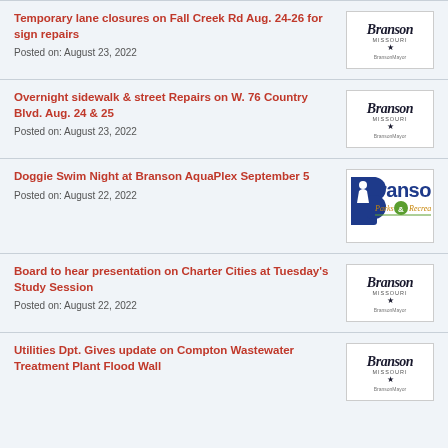Temporary lane closures on Fall Creek Rd Aug. 24-26 for sign repairs
Posted on: August 23, 2022
Overnight sidewalk & street Repairs on W. 76 Country Blvd. Aug. 24 & 25
Posted on: August 23, 2022
Doggie Swim Night at Branson AquaPlex September 5
Posted on: August 22, 2022
Board to hear presentation on Charter Cities at Tuesday's Study Session
Posted on: August 22, 2022
Utilities Dpt. Gives update on Compton Wastewater Treatment Plant Flood Wall